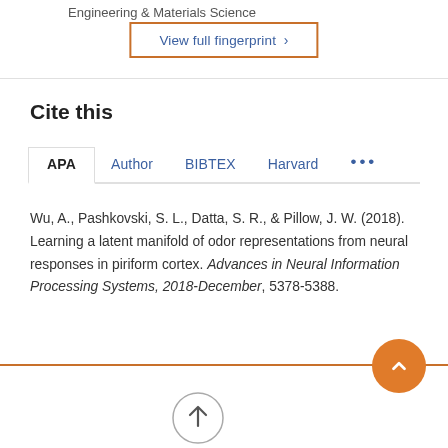Engineering & Materials Science
View full fingerprint >
Cite this
APA  Author  BIBTEX  Harvard  ...
Wu, A., Pashkovski, S. L., Datta, S. R., & Pillow, J. W. (2018). Learning a latent manifold of odor representations from neural responses in piriform cortex. Advances in Neural Information Processing Systems, 2018-December, 5378-5388.